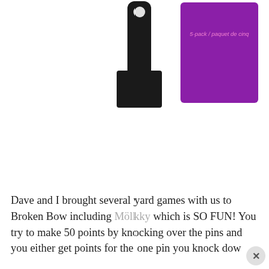[Figure (photo): Product photo showing a black handled paddle/scraper tool and a purple package labeled '5-pack / paquet de cinq' against a white background.]
Dave and I brought several yard games with us to Broken Bow including Mölkky which is SO FUN! You try to make 50 points by knocking over the pins and you either get points for the one pin you knock down...